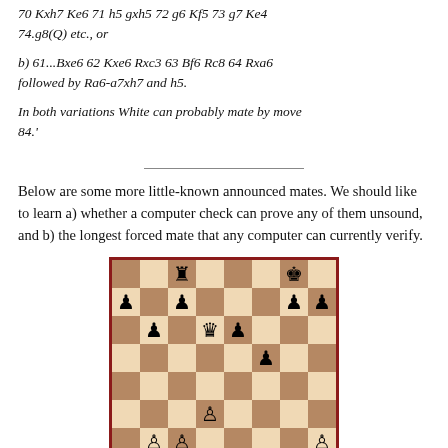70 Kxh7 Ke6 71 h5 gxh5 72 g6 Kf5 73 g7 Ke4 74.g8(Q) etc., or
b) 61...Bxe6 62 Kxe6 Rxc3 63 Bf6 Rc8 64 Rxa6 followed by Ra6-a7xh7 and h5.
In both variations White can probably mate by move 84.'
Below are some more little-known announced mates. We should like to learn a) whether a computer check can prove any of them unsound, and b) the longest forced mate that any computer can currently verify.
[Figure (other): Chess board position showing a mid-game endgame position with various pieces including rooks, bishops, queens, kings and pawns for both white and black.]